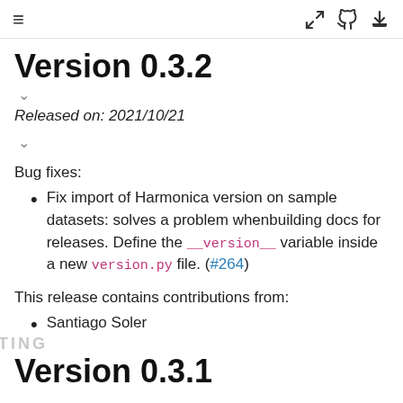≡  [icons: expand, github, download]
Version 0.3.2
Released on: 2021/10/21
Bug fixes:
Fix import of Harmonica version on sample datasets: solves a problem whenbuilding docs for releases. Define the __version__ variable inside a new version.py file. (#264)
This release contains contributions from:
Santiago Soler
Version 0.3.1